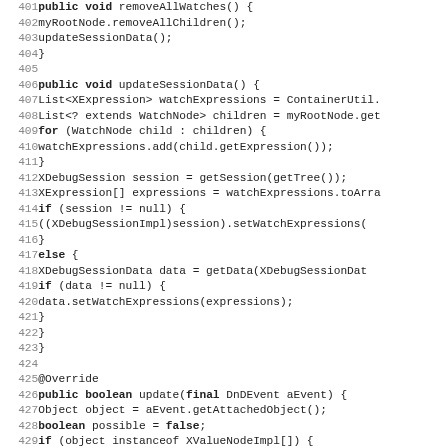[Figure (screenshot): Source code listing in monospace font showing Java methods removeAllWatches, updateSessionData, and the beginning of an update method override, with line numbers 401-433 on the left.]